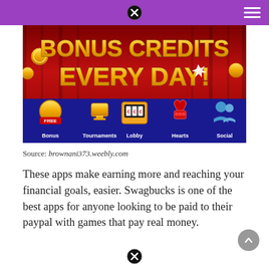[Figure (screenshot): Casino-style mobile app screenshot showing 'BONUS CREDITS EVERY DAY!' in gold text on a red curtain background, with icons for Bonus, Tournaments, Lobby, Hearts, and Social on a dark blue bar at the bottom.]
Source: brownani373.weebly.com
These apps make earning more and reaching your financial goals, easier. Swagbucks is one of the best apps for anyone looking to be paid to their paypal with games that pay real money.